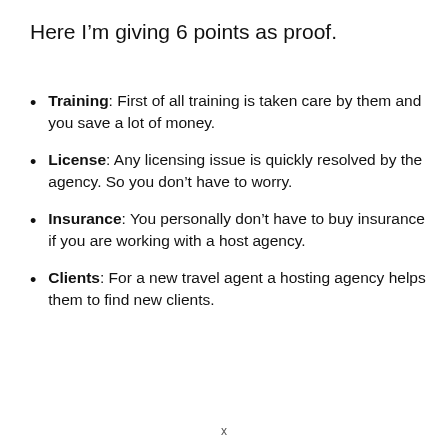Here I'm giving 6 points as proof.
Training: First of all training is taken care by them and you save a lot of money.
License: Any licensing issue is quickly resolved by the agency. So you don't have to worry.
Insurance: You personally don't have to buy insurance if you are working with a host agency.
Clients: For a new travel agent a hosting agency helps them to find new clients.
x